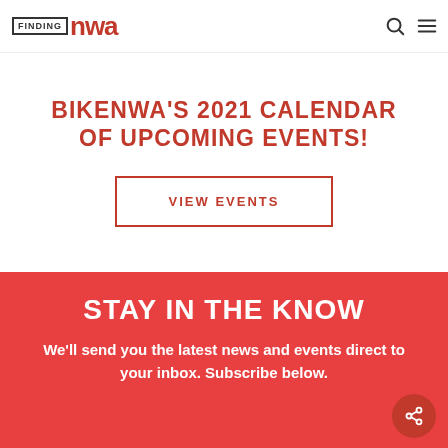FINDING nwa
BIKENWA'S 2021 CALENDAR OF UPCOMING EVENTS!
VIEW EVENTS
STAY IN THE KNOW
We'll send you the latest news and events direct to your inbox. Subscribe below.